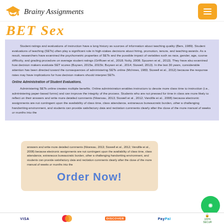Brainy Assignments
Student ratings and evaluations of instruction have a long history as sources of information about teaching quality (Bers, 1989). Student evaluations of teaching (SETs) often play a significant role in high-stakes decisions about hiring, promotion, tenure, and teaching awards. As a result, researchers have examined the psychometric properties of SETs and the possible impact of variables such as race, gender, age, course difficulty, and grading procedure on average student ratings (Griffioen et al., 2018; Nulty, 2008; Spooren et al., 2013). They have also examined how decision makers evaluate SET scores (Boysen, 2015a, 2015b; Boysen et al., 2014; Stowell, 2013). In the last 30 years, considerable attention has been directed toward the consequences of administering SETs online (McInnes, 1983; Stowell et al., 2012) because the response rates may have implications for how decision makers should interpret SETs.
Online Administration of Student Evaluations.
Administering SETs online creates multiple benefits. Online administration enables instructors to devote more class time to instruction (i.e., administering paper-based forms) and can improve the integrity of the process. Students who are not pressed for time in class are more likely to reflect on their answers and write more detailed comments (Nkansau, 2013; Stowell et al., 2012; Vandille et al., 2008) because electronic assignments are not contingent upon the availability of class time, class attendance, extraneous bureaucratic burden, other a challenging handwriting environment, and students can provide satisfactory data and recitation comments clearly after the close of the more manual of weeks or months into the